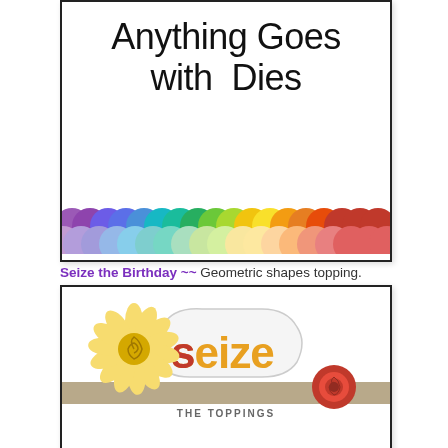[Figure (illustration): Card with large thin-font text 'Anything Goes with Dies' on white background with rainbow scallop border at the bottom.]
Seize the Birthday ~~ Geometric shapes topping.
[Figure (illustration): Seize the Toppings card with paper flower decorations (yellow sunflower and red rose) and the word 'seize' in orange/red lettering with 'THE TOPPINGS' below.]